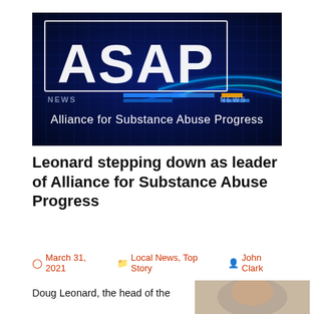[Figure (logo): ASAP News logo banner — large white textured letters 'ASAP' on a dark blue glowing digital background, with text 'Alliance for Substance Abuse Progress' in white below]
Leonard stepping down as leader of Alliance for Substance Abuse Progress
March 31, 2021   Local News, Top Story   John Clark
Doug Leonard, the head of the